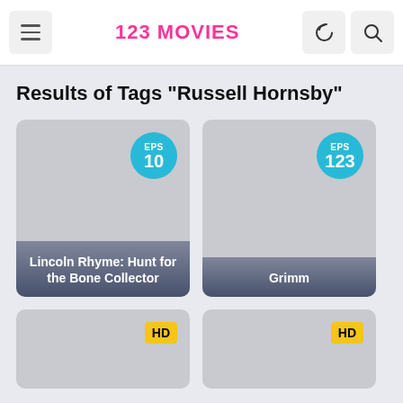123 MOVIES
Results of Tags "Russell Hornsby"
[Figure (screenshot): Movie card for Lincoln Rhyme: Hunt for the Bone Collector with EPS 10 badge]
[Figure (screenshot): Movie card for Grimm with EPS 123 badge]
[Figure (screenshot): Movie card (partial) with HD badge]
[Figure (screenshot): Movie card (partial) with HD badge]